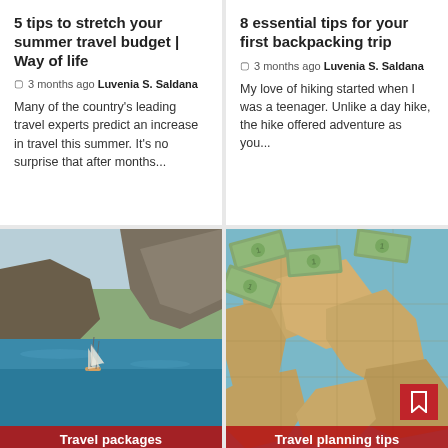5 tips to stretch your summer travel budget | Way of life
🕐 3 months ago  Luvenia S. Saldana
Many of the country's leading travel experts predict an increase in travel this summer. It's no surprise that after months...
8 essential tips for your first backpacking trip
🕐 3 months ago  Luvenia S. Saldana
My love of hiking started when I was a teenager. Unlike a day hike, the hike offered adventure as you...
[Figure (photo): Aerial view of a sailing wooden boat in blue Mediterranean waters near rocky cliffs, with category label 'Travel packages' at bottom]
[Figure (photo): Aerial view of an old world map with dollar bills scattered on it, with a red bookmark/pin badge icon and category label 'Travel planning tips' at bottom]